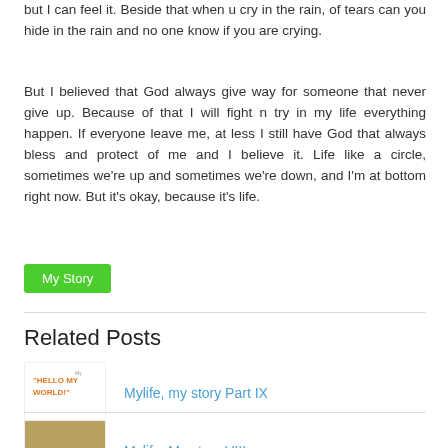but I can feel it. Beside that when u cry in the rain, of tears can you hide in the rain and no one know if you are crying.
But I believed that God always give way for someone that never give up. Because of that I will fight n try in my life everything happen. If everyone leave me, at less I still have God that always bless and protect of me and I believe it. Life like a circle, sometimes we're up and sometimes we're down, and I'm at bottom right now. But it's okay, because it's life.
My Story
Related Posts
Mylife, my story Part IX
Mylife, My story VIII